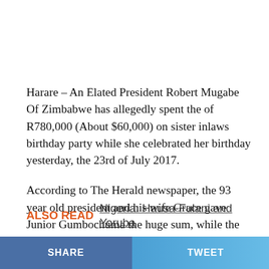Harare – An Elated President Robert Mugabe Of Zimbabwe has allegedly spent the of R780,000 (About $60,000) on sister inlaws birthday party while she celebrated her birthday yesterday, the 23rd of July 2017.
According to The Herald newspaper, the 93 year old president and his wife Grace gave Junior Gumbochuma the huge sum, while the couple's children gave her $10,000.
ALSO READ   Nigeria: Hausa-Fulani and Yoruba
SHARE   TWEET   ...